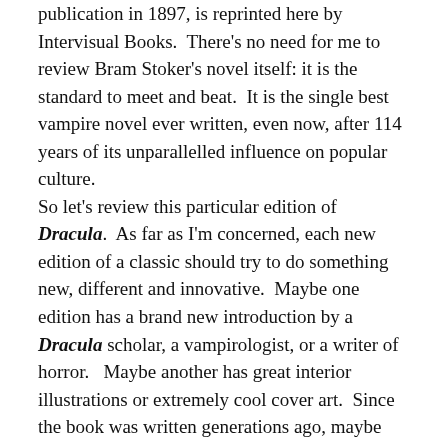publication in 1897, is reprinted here by Intervisual Books.  There's no need for me to review Bram Stoker's novel itself: it is the standard to meet and beat.  It is the single best vampire novel ever written, even now, after 114 years of its unparallelled influence on popular culture.
So let's review this particular edition of Dracula.  As far as I'm concerned, each new edition of a classic should try to do something new, different and innovative.  Maybe one edition has a brand new introduction by a Dracula scholar, a vampirologist, or a writer of horror.   Maybe another has great interior illustrations or extremely cool cover art.  Since the book was written generations ago, maybe another edition could be heavily annotated to bring today's reader up to speed with the world of the Victorian era and fin de sicle London.